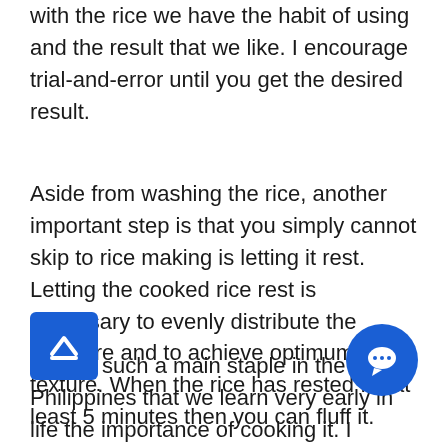with the rice we have the habit of using and the result that we like. I encourage trial-and-error until you get the desired result.
Aside from washing the rice, another important step is that you simply cannot skip to rice making is letting it rest. Letting the cooked rice rest is necessary to evenly distribute the moisture and to achieve optimum texture. When the rice has rested for at least 5 minutes then you can fluff it.
Rice is such a main staple in the Philippines that we learn very early in life the importance of cooking it. I always tell my French friends that bad rice is equivalent to stale